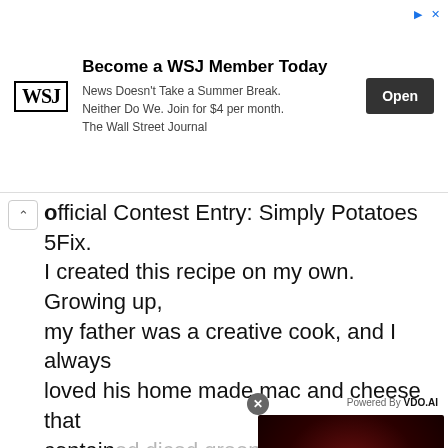[Figure (screenshot): WSJ advertisement banner: 'Become a WSJ Member Today. News Doesn't Take a Summer Break. Neither Do We. Join for $4 per month. The Wall Street Journal' with an Open button]
Official Contest Entry: Simply Potatoes 5Fix. I created this recipe on my own. Growing up, my father was a creative cook, and I always loved his home made mac and cheese that contained diced green pepper. The other ingredients added ... with the ... baked h...
Provided
Category
Time 17...
Yield 4-5 Serving(s)
[Figure (screenshot): Video overlay with dark red background showing 'No compatible source was found for this media.' and 'IMMUNE SYSTEM HOW IT ACTUALLY WORKS' text. Powered by VDO.AI label visible.]